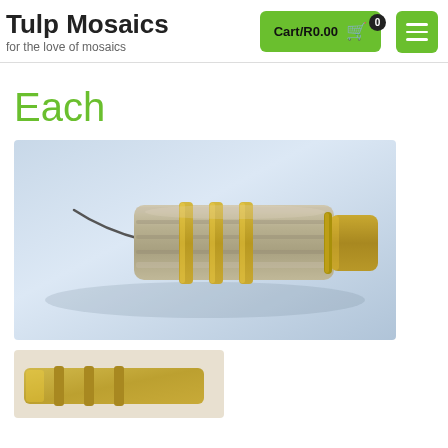Tulp Mosaics - for the love of mosaics | Cart/R0.00 0
Each
[Figure (photo): Close-up photo of a metallic tool or nipping tool with a brass/copper barrel fitting and a thin wire or blade, used for mosaic cutting, photographed against a light blue-grey background.]
[Figure (photo): Partial view of another tool or mosaic product, partially cropped at bottom of page, with brass/gold coloring.]